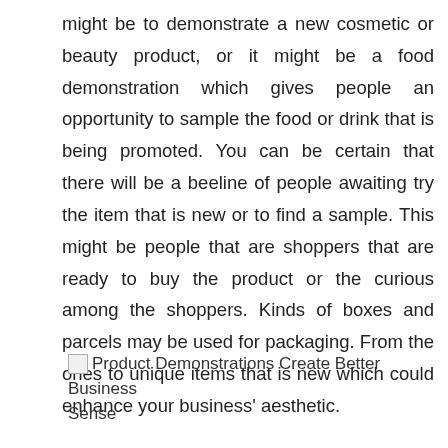might be to demonstrate a new cosmetic or beauty product, or it might be a food demonstration which gives people an opportunity to sample the food or drink that is being promoted. You can be certain that there will be a beeline of people awaiting try the item that is new or to find a sample. This might be people that are shoppers that are ready to buy the product or the curious among the shoppers. Kinds of boxes and parcels may be used for packaging. From the ones to unique items that is new which could enhance your business' aesthetic.
Product Demonstrations Create Better Business Sense